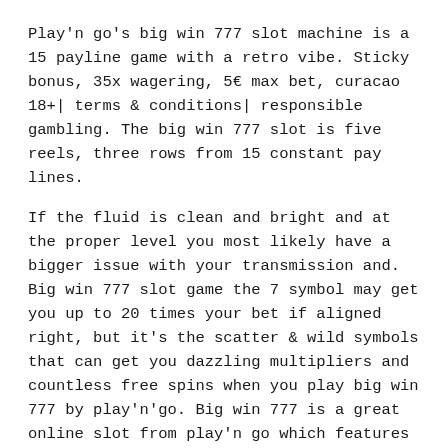Play'n go's big win 777 slot machine is a 15 payline game with a retro vibe. Sticky bonus, 35x wagering, 5€ max bet, curacao 18+| terms & conditions| responsible gambling. The big win 777 slot is five reels, three rows from 15 constant pay lines.
If the fluid is clean and bright and at the proper level you most likely have a bigger issue with your transmission and. Big win 777 slot game the 7 symbol may get you up to 20 times your bet if aligned right, but it's the scatter & wild symbols that can get you dazzling multipliers and countless free spins when you play big win 777 by play'n'go. Big win 777 is a great online slot from play'n go which features a generous prize wheel bonus.
Big win 777 slot features. Check big win 777 review and try demo of this casino game now. The game has the design of a classic slot machine and is played on five reels, three rows and has 15 fixed paylines.
This game is for you. Si tratta di un produttore che fornisce le slot con la maggior percentuale di payout,